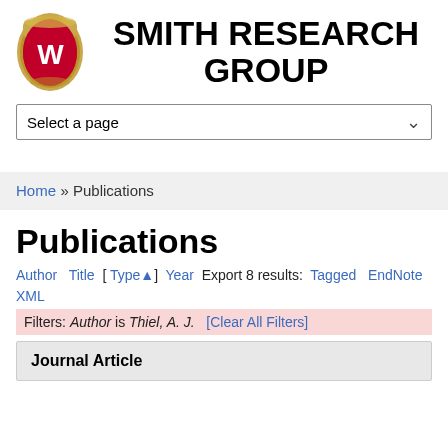[Figure (logo): University of Wisconsin-Madison W crest logo, oval shaped with red background and W, gold border with decorative elements]
SMITH RESEARCH GROUP
Select a page
Home » Publications
Publications
Author Title [ Type▲] Year Export 8 results: Tagged EndNote XML
Filters: Author is Thiel, A. J. [Clear All Filters]
Journal Article